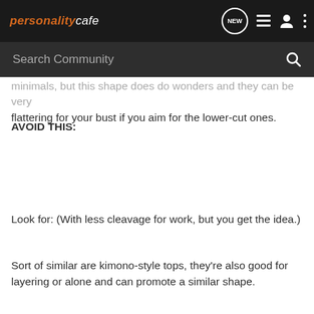personalitycafe — navigation bar with NEW, list, user, and menu icons
Search Community
...minimals, but this shape does do wonders and they can be very flattering for your bust if you aim for the lower-cut ones.
AVOID THIS:
Look for: (With less cleavage for work, but you get the idea.)
Sort of similar are kimono-style tops, they're also good for layering or alone and can promote a similar shape.